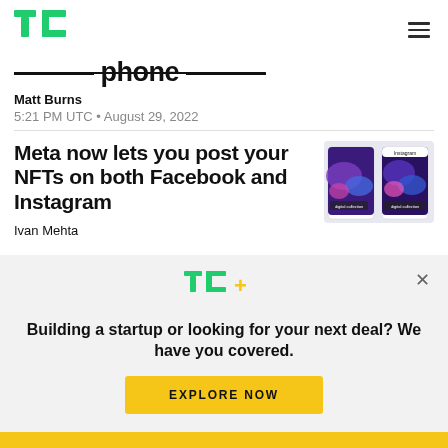TechCrunch logo and navigation
——— phone ———
Matt Burns
5:21 PM UTC • August 29, 2022
Meta now lets you post your NFTs on both Facebook and Instagram
Ivan Mehta
[Figure (screenshot): Screenshot showing NFT posts on Facebook and Instagram mobile apps with purple/blue abstract art]
TC+ Building a startup or looking for your next deal? We have you covered. EXPLORE NOW